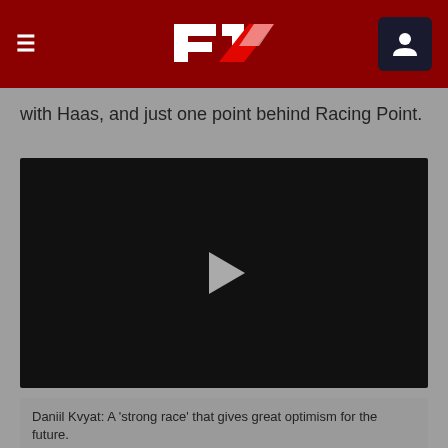F1 navigation bar with logo and user icon
with Haas, and just one point behind Racing Point.
[Figure (screenshot): Black video player with a grey play button triangle in the center]
Daniil Kvyat: A 'strong race' that gives great optimism for the future.